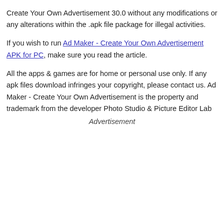Create Your Own Advertisement 30.0 without any modifications or any alterations within the .apk file package for illegal activities.
If you wish to run Ad Maker - Create Your Own Advertisement APK for PC, make sure you read the article.
All the apps & games are for home or personal use only. If any apk files download infringes your copyright, please contact us. Ad Maker - Create Your Own Advertisement is the property and trademark from the developer Photo Studio & Picture Editor Lab
Advertisement